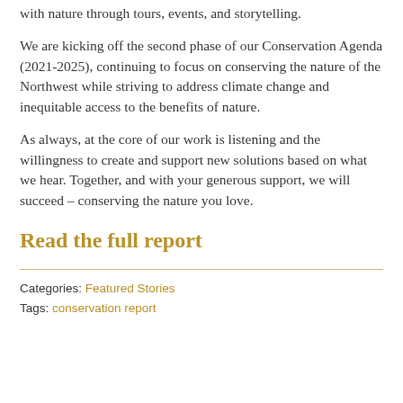with nature through tours, events, and storytelling.
We are kicking off the second phase of our Conservation Agenda (2021-2025), continuing to focus on conserving the nature of the Northwest while striving to address climate change and inequitable access to the benefits of nature.
As always, at the core of our work is listening and the willingness to create and support new solutions based on what we hear. Together, and with your generous support, we will succeed – conserving the nature you love.
Read the full report
Categories: Featured Stories
Tags: conservation report